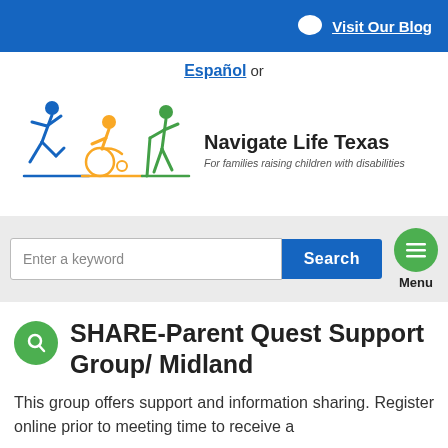Visit Our Blog
Español or
[Figure (logo): Navigate Life Texas logo with three figures: a running person in blue, a person in a wheelchair in gold/orange, and a person with a cane in green. Text reads: Navigate Life Texas - For families raising children with disabilities]
SHARE-Parent Quest Support Group/ Midland
This group offers support and information sharing. Register online prior to meeting time to receive a